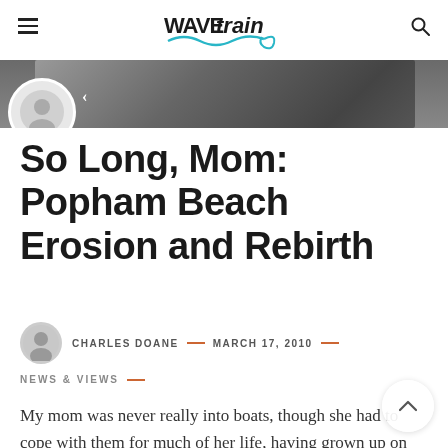WAVETRAIN (logo) — navigation header with hamburger menu and search icon
[Figure (photo): Partial hero image strip at top, showing a dark outdoor/beach scene cropped at the top of the article, with a circular avatar/icon overlapping at lower left]
So Long, Mom: Popham Beach Erosion and Rebirth
CHARLES DOANE — MARCH 17, 2010 —
NEWS & VIEWS —
My mom was never really into boats, though she had to cope with them for much of her life, having grown up on an island. She did love the water and was always happiest when in close